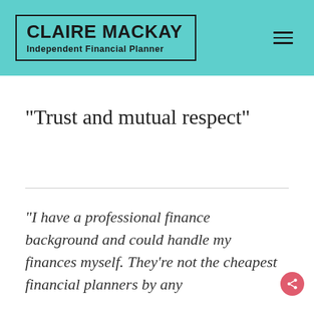CLAIRE MACKAY Independent Financial Planner
“Trust and mutual respect”
“I have a professional finance background and could handle my finances myself. They’re not the cheapest financial planners by any